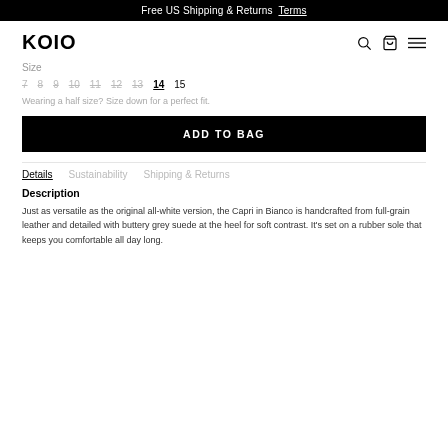Free US Shipping & Returns  Terms
KOIO
Size
7  8  9  10  11  12  13  14  15
Wearing a half size? Size down for a perfect fit.
ADD TO BAG
Details  Sustainability  Shipping & Returns
Description
Just as versatile as the original all-white version, the Capri in Bianco is handcrafted from full-grain leather and detailed with buttery grey suede at the heel for soft contrast. It's set on a rubber sole that keeps you comfortable all day long.